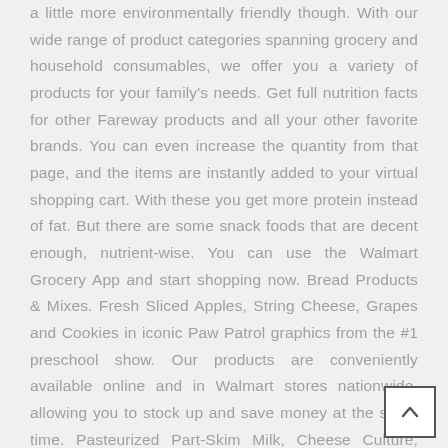a little more environmentally friendly though. With our wide range of product categories spanning grocery and household consumables, we offer you a variety of products for your family's needs. Get full nutrition facts for other Fareway products and all your other favorite brands. You can even increase the quantity from that page, and the items are instantly added to your virtual shopping cart. With these you get more protein instead of fat. But there are some snack foods that are decent enough, nutrient-wise. You can use the Walmart Grocery App and start shopping now. Bread Products & Mixes. Fresh Sliced Apples, String Cheese, Grapes and Cookies in iconic Paw Patrol graphics from the #1 preschool show. Our products are conveniently available online and in Walmart stores nationwide, allowing you to stock up and save money at the same time. Pasteurized Part-Skim Milk, Cheese Culture, Salt, Enzymes, Vitamin A Palmitate, Send me an email when my question is answered, We're committed to providing low prices every day, on everything. These cheese sticks have less than 1 gram of carbs, are only 80 calories, and have 8 grams protein making it a great keto snack option. Gifts & Registry Health Home Home Improvement Household Essentials, Jewelry,